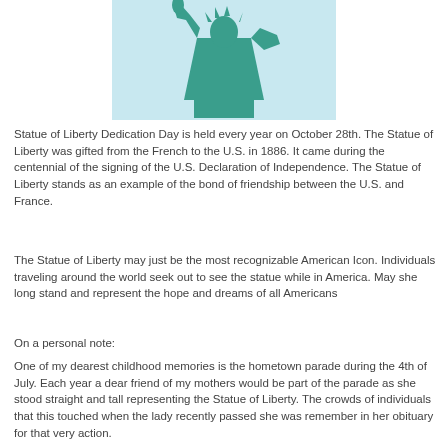[Figure (illustration): Stylized illustration of the Statue of Liberty silhouette in teal/green color on a light blue background]
Statue of Liberty Dedication Day is held every year on October 28th. The Statue of Liberty was gifted from the French to the U.S. in 1886. It came during the centennial of the signing of the U.S. Declaration of Independence. The Statue of Liberty stands as an example of the bond of friendship between the U.S. and France.
The Statue of Liberty may just be the most recognizable American Icon. Individuals traveling around the world seek out to see the statue while in America. May she long stand and represent the hope and dreams of all Americans
On a personal note:
One of my dearest childhood memories is the hometown parade during the 4th of July. Each year a dear friend of my mothers would be part of the parade as she stood straight and tall representing the Statue of Liberty. The crowds of individuals that this touched when the lady recently passed she was remember in her obituary for that very action.